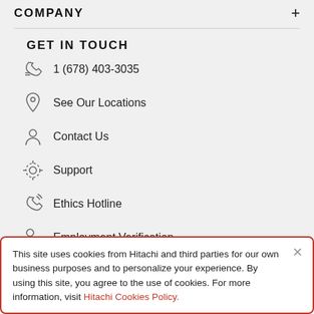COMPANY
GET IN TOUCH
1 (678) 403-3035
See Our Locations
Contact Us
Support
Ethics Hotline
Employment Verification
Employment Verification Legacy HCC
This site uses cookies from Hitachi and third parties for our own business purposes and to personalize your experience. By using this site, you agree to the use of cookies. For more information, visit Hitachi Cookies Policy.